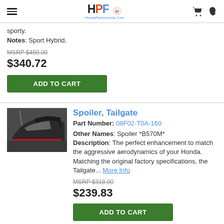HPF HondaPartsHonda.Com
sporty.
Notes: Sport Hybrid.
MSRP $459.00
$340.72
ADD TO CART
Spoiler, Tailgate
Part Number: 08F02-T0A-160
Other Names: Spoiler *B570M*
Description: The perfect enhancement to match the aggressive aerodynamics of your Honda. Matching the original factory specifications, the Tailgate... More Info
MSRP $318.00
$239.83
ADD TO CART